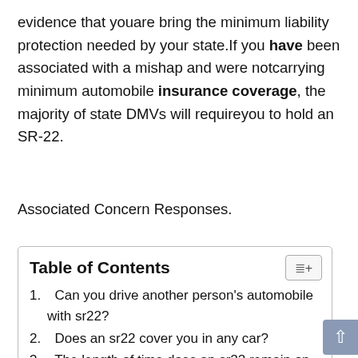evidence that youare bring the minimum liability protection needed by your state.If you have been associated with a mishap and were notcarrying minimum automobile insurance coverage, the majority of state DMVs will requireyou to hold an SR-22.
Associated Concern Responses.
Table of Contents
1.  Can you drive another person's automobile with sr22?
2.  Does an sr22 cover you in any car?
3.  The length of time does an sr22 remain on your record?
4.  Is an sr22 a one time cost?
5.  Is sr22 compulsory?